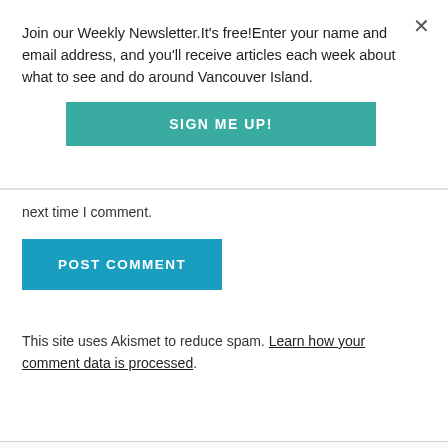Join our Weekly Newsletter.It's free!Enter your name and email address, and you'll receive articles each week about what to see and do around Vancouver Island.
[Figure (other): SIGN ME UP! button - teal/green colored CTA button]
next time I comment.
[Figure (other): POST COMMENT button - blue colored button]
This site uses Akismet to reduce spam. Learn how your comment data is processed.